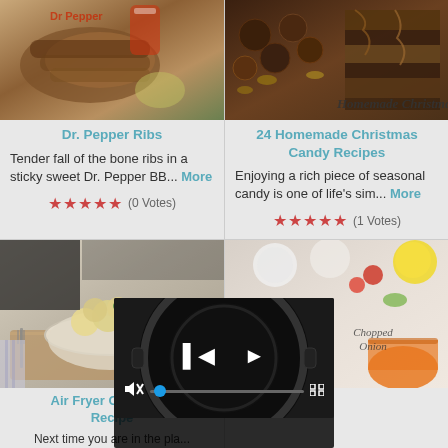[Figure (photo): Photo of Dr. Pepper Ribs - meat dish with garnish]
Dr. Pepper Ribs
Tender fall of the bone ribs in a sticky sweet Dr. Pepper BB... More
★★★★★ (0 Votes)
[Figure (photo): Photo of homemade Christmas candy - chocolate candies and layered desserts]
24 Homemade Christmas Candy Recipes
Enjoying a rich piece of seasonal candy is one of life's sim... More
★★★★★ (1 Votes)
[Figure (photo): Photo of Air Fryer Cauliflower in a bowl on wooden board]
Air Fryer Cauliflower Recipe
Next time you are in the pla...
[Figure (photo): Photo of chopped onion dish with sauce]
[Figure (screenshot): Video player overlay showing a slow cooker, with playback controls, mute button, progress bar with blue dot, and fullscreen icon]